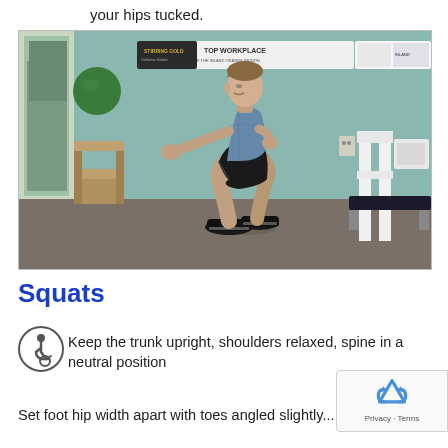your hips tucked.
[Figure (photo): A young man performing a squat exercise in a physical therapy gym. He is in a semi-squat position with arms extended forward, wearing a blue shirt and black shorts. The gym has a teal/green wall, a green exercise ball, chairs, and exercise equipment visible. A 'TOP WORKPLACE' banner is visible on the wall.]
Squats
Keep the trunk upright, shoulders relaxed, spine in a neutral position
Set foot hip width apart with toes angled slightly...